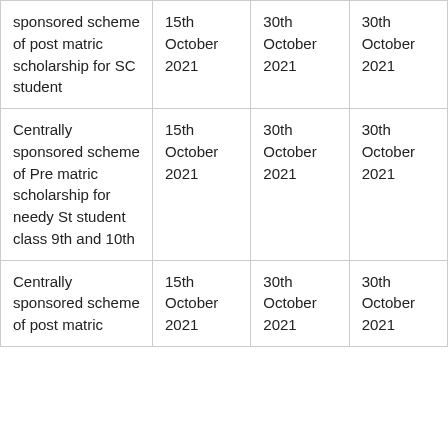| sponsored scheme of post matric scholarship for SC student | 15th October 2021 | 30th October 2021 | 30th October 2021 |
| Centrally sponsored scheme of Pre matric scholarship for needy St student class 9th and 10th | 15th October 2021 | 30th October 2021 | 30th October 2021 |
| Centrally sponsored scheme of post matric | 15th October 2021 | 30th October 2021 | 30th October 2021 |